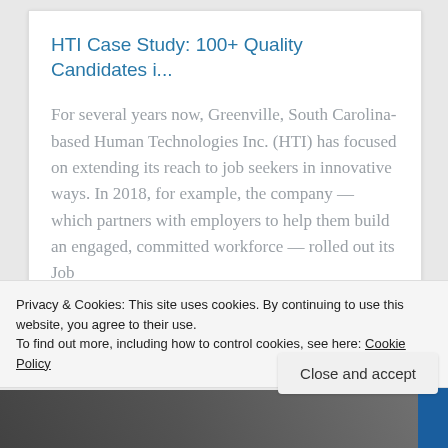HTI Case Study: 100+ Quality Candidates i...
For several years now, Greenville, South Carolina-based Human Technologies Inc. (HTI) has focused on extending its reach to job seekers in innovative ways. In 2018, for example, the company — which partners with employers to help them build an engaged, committed workforce — rolled out its Job
Read more
Privacy & Cookies: This site uses cookies. By continuing to use this website, you agree to their use.
To find out more, including how to control cookies, see here: Cookie Policy
Close and accept